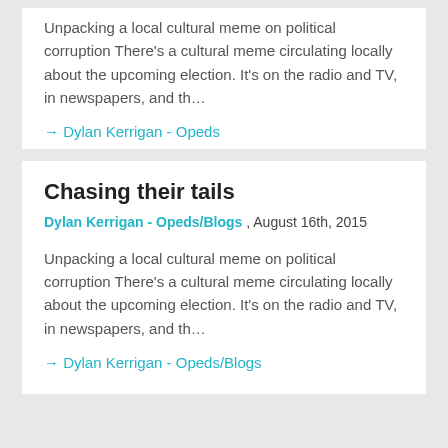Unpacking a local cultural meme on political corruption There's a cultural meme circulating locally about the upcoming election. It's on the radio and TV, in newspapers, and th...
→ Dylan Kerrigan - Opeds
Chasing their tails
Dylan Kerrigan - Opeds/Blogs , August 16th, 2015
Unpacking a local cultural meme on political corruption There's a cultural meme circulating locally about the upcoming election. It's on the radio and TV, in newspapers, and th...
→ Dylan Kerrigan - Opeds/Blogs